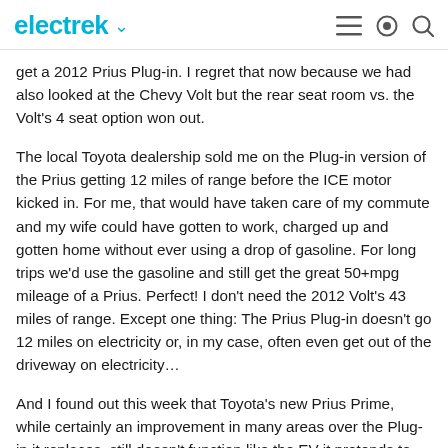electrek
get a 2012 Prius Plug-in. I regret that now because we had also looked at the Chevy Volt but the rear seat room vs. the Volt's 4 seat option won out.
The local Toyota dealership sold me on the Plug-in version of the Prius getting 12 miles of range before the ICE motor kicked in. For me, that would have taken care of my commute and my wife could have gotten to work, charged up and gotten home without ever using a drop of gasoline. For long trips we'd use the gasoline and still get the great 50+mpg mileage of a Prius. Perfect! I don't need the 2012 Volt's 43 miles of range. Except one thing: The Prius Plug-in doesn't go 12 miles on electricity or, in my case, often even get out of the driveway on electricity…
And I found out this week that Toyota's new Prius Prime, while certainly an improvement in many areas over the Plug-in it replaces, still doesn't function like the EV it pretends to be.